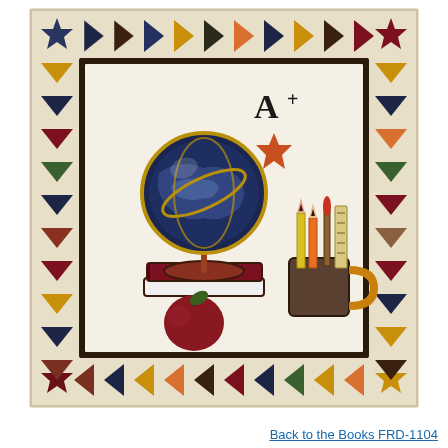[Figure (illustration): A quilt pattern called 'Back to the Books FRD-1104' featuring a central cream/off-white panel with appliqued school-themed motifs: a globe on a stand resting on stacked books, pencils and a ruler in a mug, an apple, an 'A+' grade mark, and a star. The central panel is surrounded by a border of flying geese triangles in various colors (navy, red, dark green, orange, gold, plaid fabrics) and corner squares with star appliques.]
Back to the Books FRD-1104